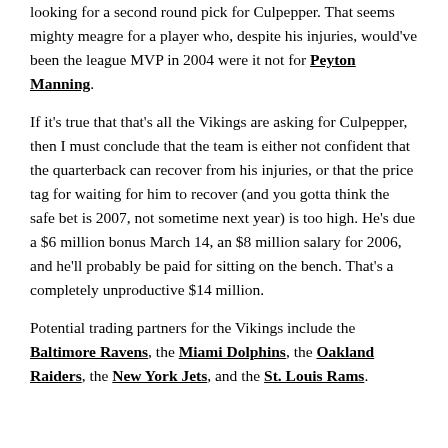looking for a second round pick for Culpepper. That seems mighty meagre for a player who, despite his injuries, would've been the league MVP in 2004 were it not for Peyton Manning.
If it's true that that's all the Vikings are asking for Culpepper, then I must conclude that the team is either not confident that the quarterback can recover from his injuries, or that the price tag for waiting for him to recover (and you gotta think the safe bet is 2007, not sometime next year) is too high. He's due a $6 million bonus March 14, an $8 million salary for 2006, and he'll probably be paid for sitting on the bench. That's a completely unproductive $14 million.
Potential trading partners for the Vikings include the Baltimore Ravens, the Miami Dolphins, the Oakland Raiders, the New York Jets, and the St. Louis Rams.